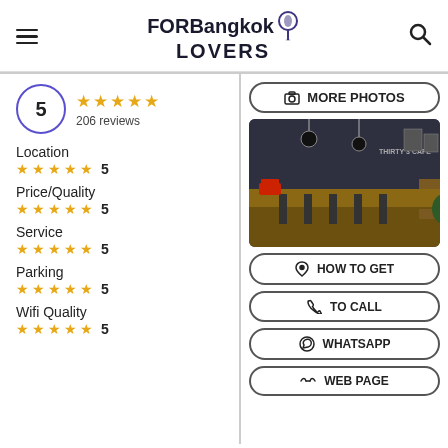FOR Bangkok LOVERS
5  ★★★★★  206 reviews
Location ★★★★★ 5
Price/Quality ★★★★★ 5
Service ★★★★★ 5
Parking ★★★★★ 5
Wifi Quality ★★★★★ 5
[Figure (photo): Interior of Thirty 3 Cafe in Bangkok showing bar seating along a counter with pendant lights and wall decorations]
MORE PHOTOS
HOW TO GET
TO CALL
WHATSAPP
WEB PAGE